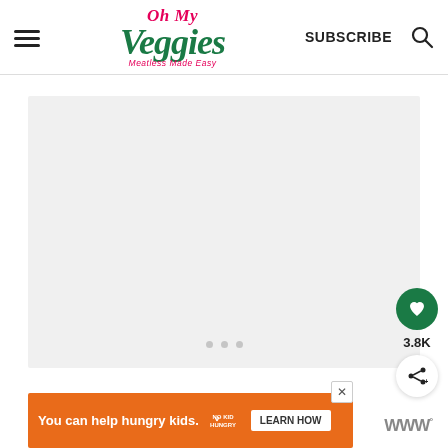Oh My Veggies — Meatless Made Easy | SUBSCRIBE
[Figure (screenshot): Loading placeholder gray box with three dots indicating content loading]
[Figure (other): Floating action buttons: green heart button with 3.8K count and share button]
[Figure (other): Orange advertisement banner: You can help hungry kids. No Kid Hungry. LEARN HOW]
WWº